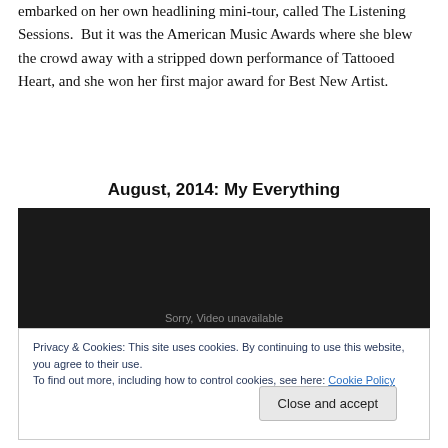embarked on her own headlining mini-tour, called The Listening Sessions.  But it was the American Music Awards where she blew the crowd away with a stripped down performance of Tattooed Heart, and she won her first major award for Best New Artist.
August, 2014: My Everything
[Figure (screenshot): Dark/black video embed placeholder with faint text visible at bottom]
Privacy & Cookies: This site uses cookies. By continuing to use this website, you agree to their use.
To find out more, including how to control cookies, see here: Cookie Policy
Close and accept